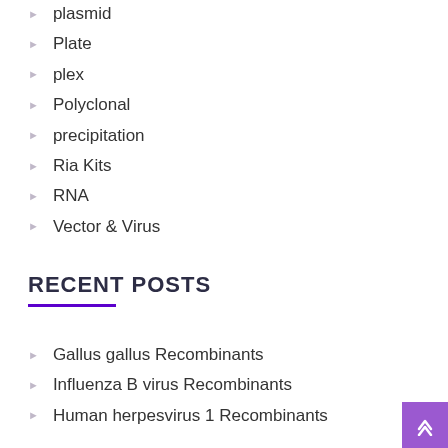plasmid
Plate
plex
Polyclonal
precipitation
Ria Kits
RNA
Vector & Virus
RECENT POSTS
Gallus gallus Recombinants
Influenza B virus Recombinants
Human herpesvirus 1 Recombinants